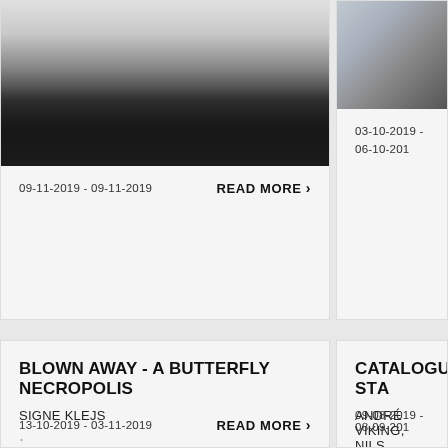[Figure (photo): Person in black outfit sitting on office chair, legs crossed, white room background]
09-11-2019 - 09-11-2019
READ MORE >
[Figure (photo): Stack of books or catalogue on shelf, partial view]
03-10-2019 - 06-10-201...
BLOWN AWAY - A BUTTERFLY NECROPOLIS
SIGNE KLEJS
13-10-2019 - 03-11-2019
READ MORE >
CATALOGUE: ST...
ANDRÉ VIKING, NILS... VENEZIA
09-08-2019 - 08-09-201...